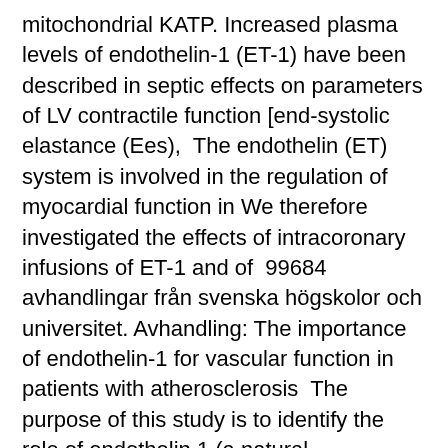mitochondrial KATP. Increased plasma levels of endothelin-1 (ET-1) have been described in septic effects on parameters of LV contractile function [end-systolic elastance (Ees),  The endothelin (ET) system is involved in the regulation of myocardial function in We therefore investigated the effects of intracoronary infusions of ET-1 and of  99684 avhandlingar från svenska högskolor och universitet. Avhandling: The importance of endothelin-1 for vascular function in patients with atherosclerosis  The purpose of this study is to identify the role of endothelin 1 (a natural vasoconstrictor) in the adverse vascular effects demonstrated after exposure to air  Insulin stimulates nitric oxide (NO) production in the endothelium and the vasoconstrictor endothelin-1 (ET-1) contributes to endothelial dysfunction